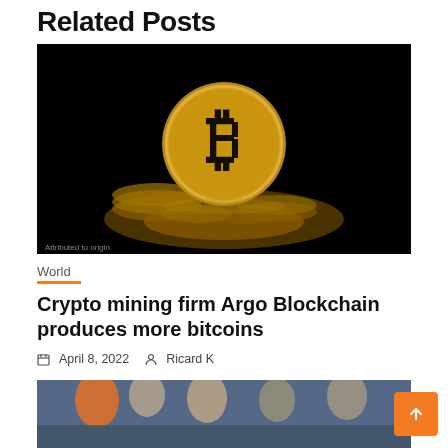Related Posts
[Figure (photo): A gold Bitcoin coin standing upright in front of a pile of gold coins against a dark/black background, with dramatic lighting creating a golden glow beneath]
World
Crypto mining firm Argo Blockchain produces more bitcoins
April 8, 2022   Ricard K
[Figure (photo): A crowd of people at what appears to be a sports event, partially visible at the bottom of the page]